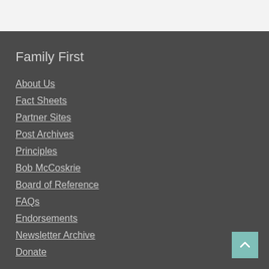Family First
About Us
Fact Sheets
Partner Sites
Post Archives
Principles
Bob McCoskrie
Board of Reference
FAQs
Endorsements
Newsletter Archive
Donate